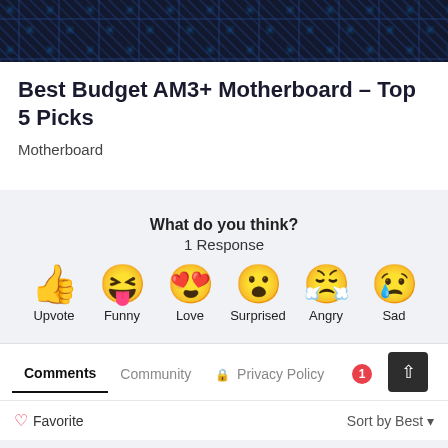[Figure (photo): Dark circuit board / motherboard close-up photo at top of article card]
Best Budget AM3+ Motherboard – Top 5 Picks
Motherboard
What do you think?
1 Response
[Figure (infographic): Six emoji reaction buttons: Upvote (thumbs up), Funny (laughing face with tongue), Love (heart eyes), Surprised (wow face), Angry (crying/angry face), Sad (sad face with tear)]
Comments  Community  🔒 Privacy Policy  1
♡ Favorite
Sort by Best ▾